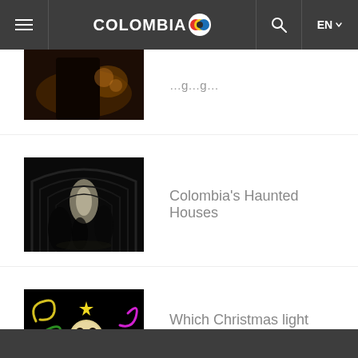COLOMBIA.co EN
[Figure (photo): Partial photo of people in a dark/warm lit setting, cut off at top]
[Figure (photo): Black and white photo of a long corridor with arches and blurred silhouettes of people]
Colombia's Haunted Houses
[Figure (photo): Colorful illustration/photo of a skull with rainbow and decorative swirls on black background]
Which Christmas light displays should you see in Colombia?